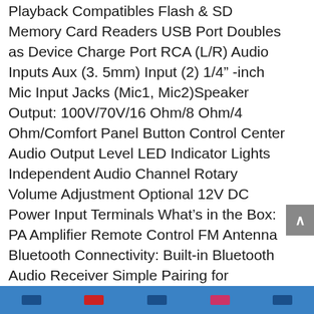Playback Compatibles Flash & SD Memory Card Readers USB Port Doubles as Device Charge Port RCA (L/R) Audio Inputs Aux (3. 5mm) Input (2) 1/4" -inch Mic Input Jacks (Mic1, Mic2)Speaker Output: 100V/70V/16 Ohm/8 Ohm/4 Ohm/Comfort Panel Button Control Center Audio Output Level LED Indicator Lights Independent Audio Channel Rotary Volume Adjustment Optional 12V DC Power Input Terminals What’s in the Box: PA Amplifier Remote Control FM Antenna Bluetooth Connectivity: Built-in Bluetooth Audio Receiver Simple Pairing for Wireless Music Streaming Works with All of Today’s Latest Bluetooth Devices (Smartphones, Tablets, Laptops, Computers, etc. ) Bluetooth Version: 4. 0Bluetooth Network Name: ‘PYLEUSA’ Wireless Range: Up to 30’+ ft. Technical Specs: Power Output: 500 Watt MA Frequency Response: +/-3dB, 100Hz-20kHzImpedance: 4/8/16 Ohm. H. D. : S/N Ratio: >90dB, Mic 80dBMicrophone Sensitivity: 12mV/USB/SD Flash Memory...